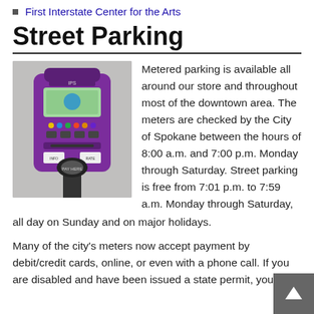First Interstate Center for the Arts
Street Parking
[Figure (photo): A purple parking meter on a city street sidewalk]
Metered parking is available all around our store and throughout most of the downtown area. The meters are checked by the City of Spokane between the hours of 8:00 a.m. and 7:00 p.m. Monday through Saturday. Street parking is free from 7:01 p.m. to 7:59 a.m. Monday through Saturday, all day on Sunday and on major holidays.
Many of the city's meters now accept payment by debit/credit cards, online, or even with a phone call. If you are disabled and have been issued a state permit, you can